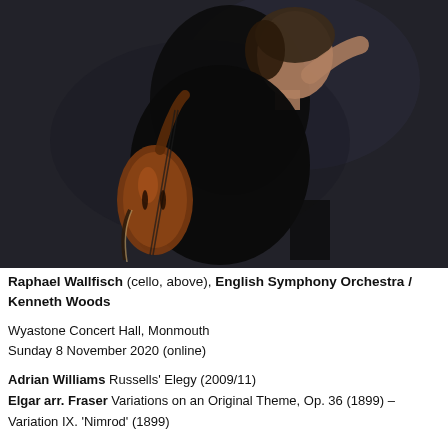[Figure (photo): A man in black clothing playing a cello, photographed from the side against a dark moody background. He is seated and looking down at the instrument.]
Raphael Wallfisch (cello, above), English Symphony Orchestra / Kenneth Woods
Wyastone Concert Hall, Monmouth
Sunday 8 November 2020 (online)
Adrian Williams Russells' Elegy (2009/11)
Elgar arr. Fraser Variations on an Original Theme, Op. 36 (1899) – Variation IX. 'Nimrod' (1899)